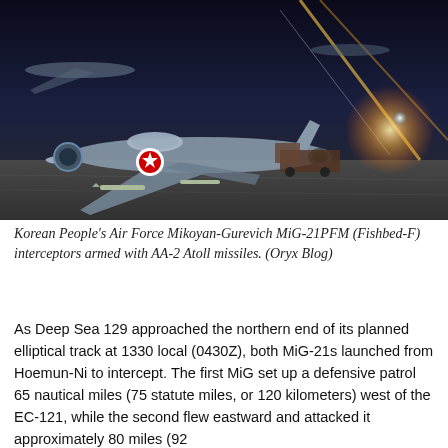[Figure (photo): Korean People's Air Force Mikoyan-Gurevich MiG-21PFM (Fishbed-F) interceptors armed with AA-2 Atoll missiles, photographed at night on a tarmac with light streaks and a bright light source visible.]
Korean People's Air Force Mikoyan-Gurevich MiG-21PFM (Fishbed-F) interceptors armed with AA-2 Atoll missiles. (Oryx Blog)
As Deep Sea 129 approached the northern end of its planned elliptical track at 1330 local (0430Z), both MiG-21s launched from Hoemun-Ni to intercept. The first MiG set up a defensive patrol 65 nautical miles (75 statute miles, or 120 kilometers) west of the EC-121, while the second flew eastward and attacked it approximately 80 miles (92